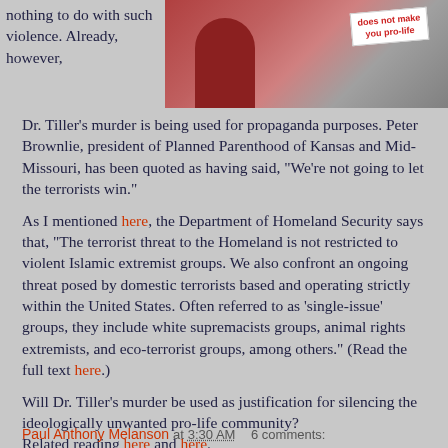[Figure (photo): Photo of a person in a red shirt near a protest sign that reads 'does not make you pro-life']
nothing to do with such violence. Already, however, Dr. Tiller's murder is being used for propaganda purposes. Peter Brownlie, president of Planned Parenthood of Kansas and Mid-Missouri, has been quoted as having said, "We're not going to let the terrorists win."
As I mentioned here, the Department of Homeland Security says that, "The terrorist threat to the Homeland is not restricted to violent Islamic extremist groups. We also confront an ongoing threat posed by domestic terrorists based and operating strictly within the United States. Often referred to as 'single-issue' groups, they include white supremacists groups, animal rights extremists, and eco-terrorist groups, among others." (Read the full text here.)
Will Dr. Tiller's murder be used as justification for silencing the ideologically unwanted pro-life community? Related reading here and here.
Paul Anthony Melanson at 3:30 AM   6 comments: